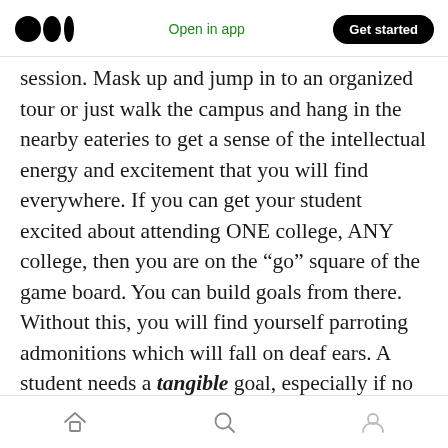Medium logo | Open in app | Get started
session. Mask up and jump in to an organized tour or just walk the campus and hang in the nearby eateries to get a sense of the intellectual energy and excitement that you will find everywhere. If you can get your student excited about attending ONE college, ANY college, then you are on the “go” square of the game board. You can build goals from there. Without this, you will find yourself parroting admonitions which will fall on deaf ears. A student needs a tangible goal, especially if no particular career goal is present. Invest in getting your student
Home | Search | Profile